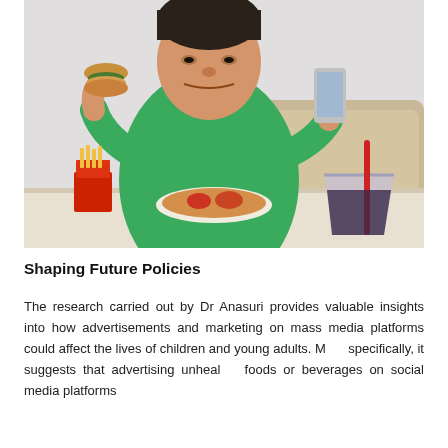[Figure (photo): A man in a green polo shirt eating a burger and holding a smartphone, with french fries in a red box, a plate of food, and a large drink with a red straw on a table in front of him.]
Shaping Future Policies
The research carried out by Dr Anasuri provides valuable insights into how advertisements and marketing on mass media platforms could affect the lives of children and young adults. More specifically, it suggests that advertising unhealthy foods or beverages on social media platforms